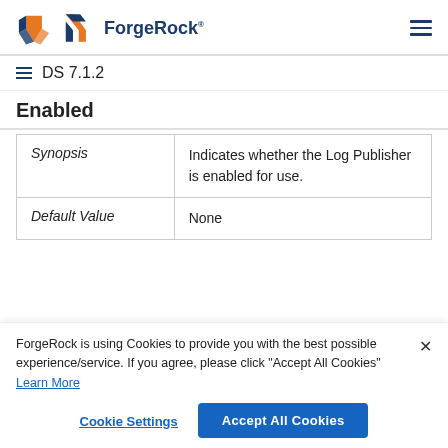ForgeRock
DS 7.1.2
Enabled
| Synopsis | Indicates whether the Log Publisher is enabled for use. |
| Default Value | None |
ForgeRock is using Cookies to provide you with the best possible experience/service. If you agree, please click "Accept All Cookies" Learn More
Cookie Settings
Accept All Cookies